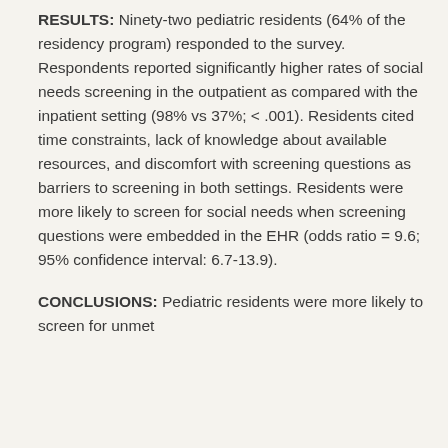RESULTS: Ninety-two pediatric residents (64% of the residency program) responded to the survey. Respondents reported significantly higher rates of social needs screening in the outpatient as compared with the inpatient setting (98% vs 37%; < .001). Residents cited time constraints, lack of knowledge about available resources, and discomfort with screening questions as barriers to screening in both settings. Residents were more likely to screen for social needs when screening questions were embedded in the EHR (odds ratio = 9.6; 95% confidence interval: 6.7-13.9).
CONCLUSIONS: Pediatric residents were more likely to screen for unmet